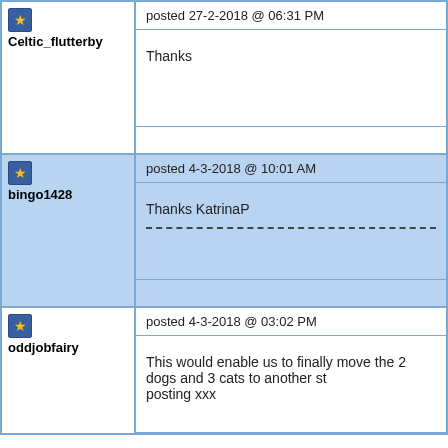Celtic_flutterby
posted 27-2-2018 @ 06:31 PM
Thanks
bingo1428
posted 4-3-2018 @ 10:01 AM
Thanks KatrinaP
oddjobfairy
posted 4-3-2018 @ 03:02 PM
This would enable us to finally move the 2 dogs and 3 cats to another st posting xxx